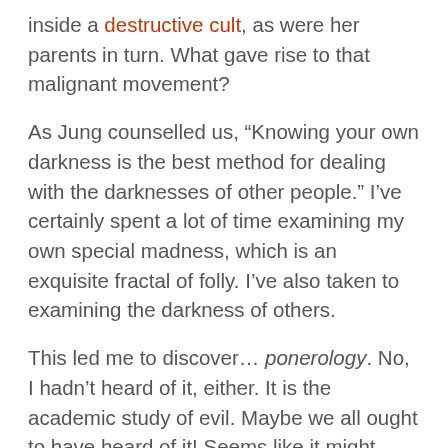inside a destructive cult, as were her parents in turn. What gave rise to that malignant movement?
As Jung counselled us, “Knowing your own darkness is the best method for dealing with the darknesses of other people.” I’ve certainly spent a lot of time examining my own special madness, which is an exquisite fractal of folly. I’ve also taken to examining the darkness of others.
This led me to discover… ponerology. No, I hadn’t heard of it, either. It is the academic study of evil. Maybe we all ought to have heard of it! Seems like it might have some bearing on